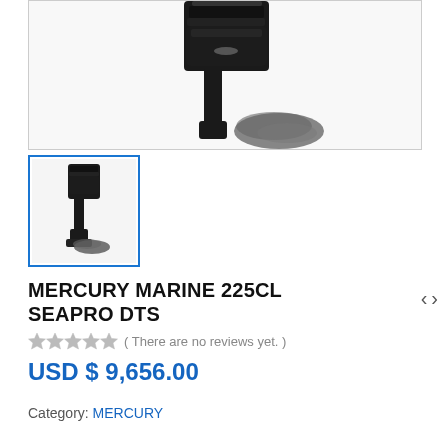[Figure (photo): Close-up photo of a Mercury Marine outboard motor showing the black engine body and propeller against a white background]
[Figure (photo): Thumbnail of Mercury Marine 225CL SeaPro DTS outboard motor, full view with blue border indicating selected state]
MERCURY MARINE 225CL SEAPRO DTS
( There are no reviews yet. )
USD $ 9,656.00
Category: MERCURY